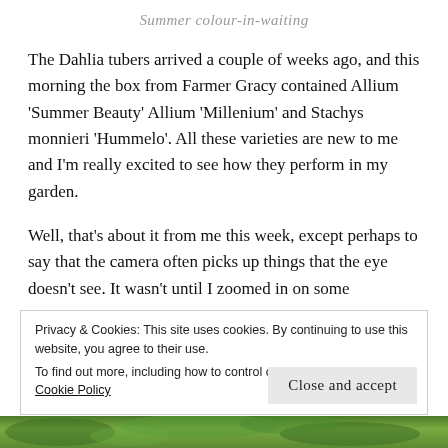Summer colour-in-waiting
The Dahlia tubers arrived a couple of weeks ago, and this morning the box from Farmer Gracy contained Allium ‘Summer Beauty’ Allium ‘Millenium’ and Stachys monnieri ‘Hummelo’. All these varieties are new to me and I’m really excited to see how they perform in my garden.
Well, that’s about it from me this week, except perhaps to say that the camera often picks up things that the eye doesn’t see. It wasn’t until I zoomed in on some
Privacy & Cookies: This site uses cookies. By continuing to use this website, you agree to their use.
To find out more, including how to control cookies, see here:
Cookie Policy
[Figure (photo): Green foliage strip at the bottom of the page]